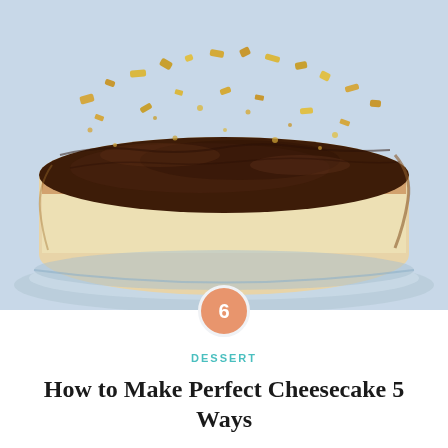[Figure (photo): A cheesecake with dark chocolate ganache topping and crushed nuts, sitting on a glass cake stand, photographed from above at an angle]
DESSERT
How to Make Perfect Cheesecake 5 Ways
Cheesecake is the iconic Shavuot dessert, as sacrosanct as a Hanukkah latke or Passover matzah ball.